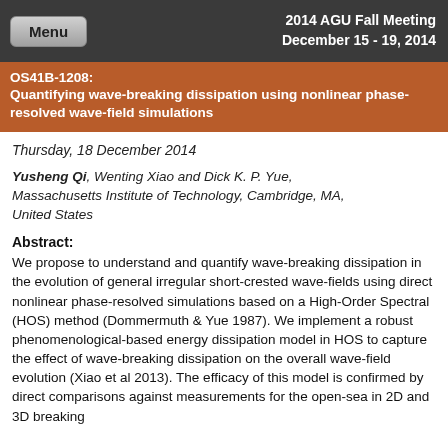2014 AGU Fall Meeting
December 15 - 19, 2014
OS41B-1208:
Quantifying wave-breaking dissipation using nonlinear phase-resolved wave-field simulations
Thursday, 18 December 2014
Yusheng Qi, Wenting Xiao and Dick K. P. Yue, Massachusetts Institute of Technology, Cambridge, MA, United States
Abstract:
We propose to understand and quantify wave-breaking dissipation in the evolution of general irregular short-crested wave-fields using direct nonlinear phase-resolved simulations based on a High-Order Spectral (HOS) method (Dommermuth & Yue 1987). We implement a robust phenomenological-based energy dissipation model in HOS to capture the effect of wave-breaking dissipation on the overall wave-field evolution (Xiao et al 2013). The efficacy of this model is confirmed by direct comparisons against measurements for the open-sea in 2D and 3D breaking